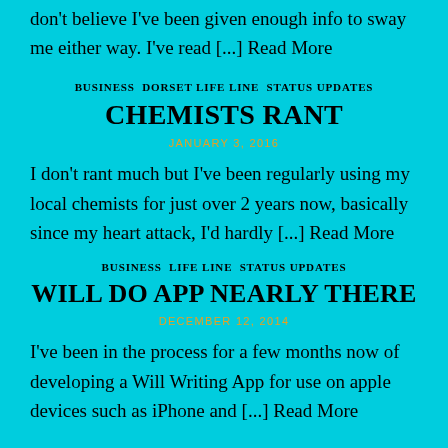don't believe I've been given enough info to sway me either way. I've read [...] Read More
BUSINESS  DORSET LIFE LINE  STATUS UPDATES
CHEMISTS RANT
JANUARY 3, 2016
I don't rant much but I've been regularly using my local chemists for just over 2 years now, basically since my heart attack, I'd hardly [...] Read More
BUSINESS  LIFE LINE  STATUS UPDATES
WILL DO APP NEARLY THERE
DECEMBER 12, 2014
I've been in the process for a few months now of developing a Will Writing App for use on apple devices such as iPhone and [...] Read More